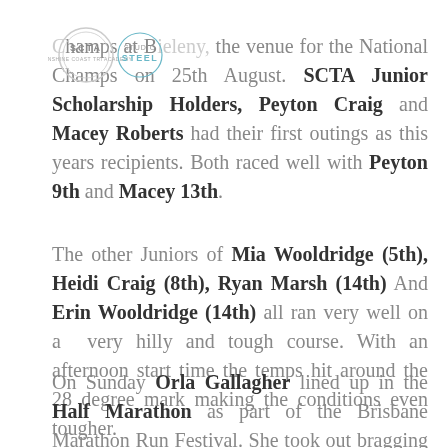[Figure (logo): SCTA (Sunshine Coast Tri Academy) circular logo and Studio Steel circular logo overlaid on text]
Champs at Bieleny, the venue for the National Champs on 25th August. SCTA Junior Scholarship Holders, Peyton Craig and Macey Roberts had their first outings as this years recipients. Both raced well with Peyton 9th and Macey 13th.
The other Juniors of Mia Wooldridge (5th), Heidi Craig (8th), Ryan Marsh (14th) And Erin Wooldridge (14th) all ran very well on a very hilly and tough course. With an afternoon start time the temps hit around the 28 degree mark making the conditions even tougher.
On Sunday Orla Gallagher lined up in the Half Marathon as part of the Brisbane Marathon Run Festival. She took out bragging rights beating her fellow work colleagues across the line with a 26th Place 30-